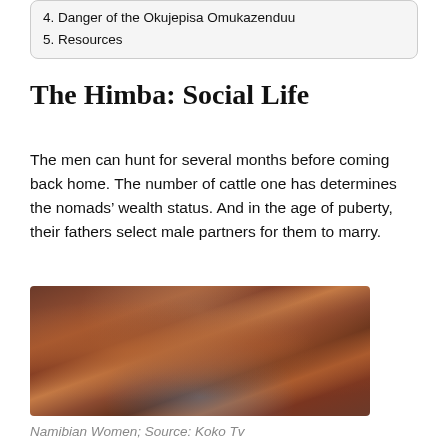5. Resources
The Himba: Social Life
The men can hunt for several months before coming back home. The number of cattle one has determines the nomads’ wealth status. And in the age of puberty, their fathers select male partners for them to marry.
[Figure (photo): Two Himba women with traditional red ochre-coated skin and hairstyles, shown in profile against a sky backdrop]
Namibian Women; Source: Koko Tv
Villagers are usually very pious, worshipping their ancient